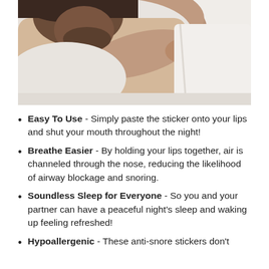[Figure (photo): Person sleeping in bed, lying on their side with head on white pillow, wearing a white shirt, embracing the pillow with their arm.]
Easy To Use - Simply paste the sticker onto your lips and shut your mouth throughout the night!
Breathe Easier - By holding your lips together, air is channeled through the nose, reducing the likelihood of airway blockage and snoring.
Soundless Sleep for Everyone - So you and your partner can have a peaceful night's sleep and waking up feeling refreshed!
Hypoallergenic - These anti-snore stickers don't